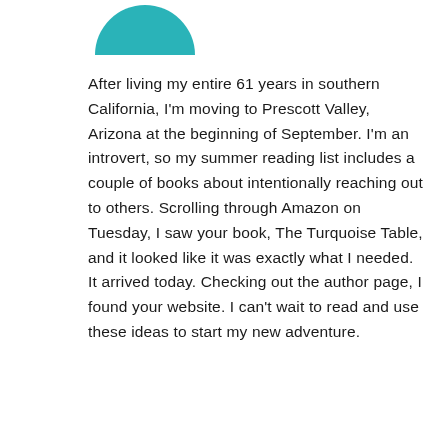[Figure (illustration): Partial teal/turquoise circle visible at top of page, representing a profile photo cropped at the bottom edge]
After living my entire 61 years in southern California, I'm moving to Prescott Valley, Arizona at the beginning of September. I'm an introvert, so my summer reading list includes a couple of books about intentionally reaching out to others. Scrolling through Amazon on Tuesday, I saw your book, The Turquoise Table, and it looked like it was exactly what I needed. It arrived today. Checking out the author page, I found your website. I can't wait to read and use these ideas to start my new adventure.